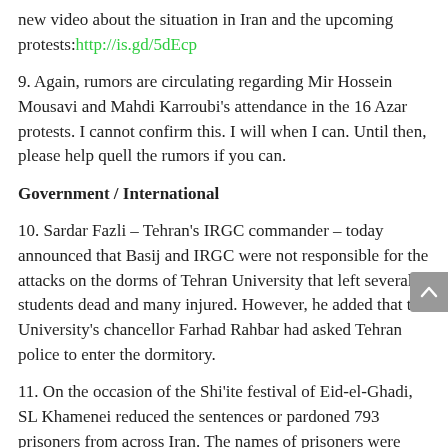new video about the situation in Iran and the upcoming protests: http://is.gd/5dEcp
9. Again, rumors are circulating regarding Mir Hossein Mousavi and Mahdi Karroubi's attendance in the 16 Azar protests. I cannot confirm this. I will when I can. Until then, please help quell the rumors if you can.
Government / International
10. Sardar Fazli – Tehran's IRGC commander – today announced that Basij and IRGC were not responsible for the attacks on the dorms of Tehran University that left several students dead and many injured. However, he added that the University's chancellor Farhad Rahbar had asked Tehran police to enter the dormitory.
11. On the occasion of the Shi'ite festival of Eid-el-Ghadi, SL Khamenei reduced the sentences or pardoned 793 prisoners from across Iran. The names of prisoners were recommended by Judiciary